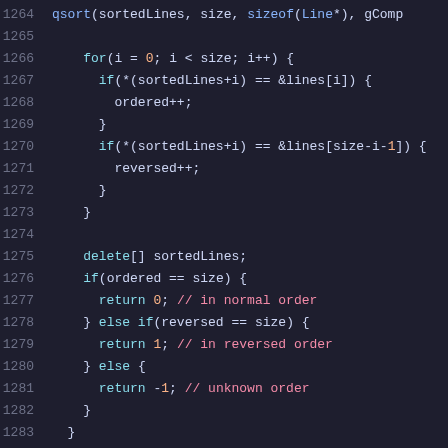[Figure (screenshot): Source code screenshot showing C++ code lines 1264-1285 with syntax highlighting on dark background. Code shows qsort call, for loop checking sorted/reversed order, delete[], and if/else return statements.]